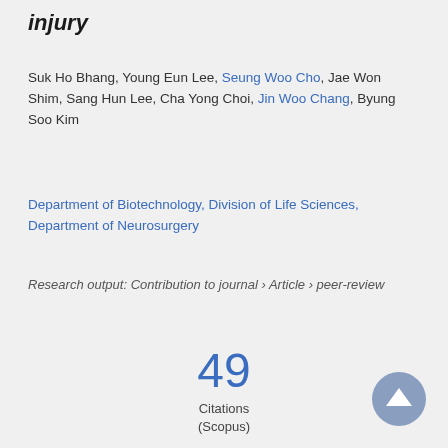injury
Suk Ho Bhang, Young Eun Lee, Seung Woo Cho, Jae Won Shim, Sang Hun Lee, Cha Yong Choi, Jin Woo Chang, Byung Soo Kim
Department of Biotechnology, Division of Life Sciences, Department of Neurosurgery
Research output: Contribution to journal › Article › peer-review
49
Citations
(Scopus)